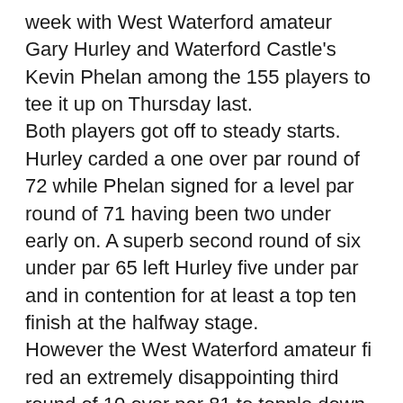week with West Waterford amateur Gary Hurley and Waterford Castle's Kevin Phelan among the 155 players to tee it up on Thursday last. Both players got off to steady starts. Hurley carded a one over par round of 72 while Phelan signed for a level par round of 71 having been two under early on. A superb second round of six under par 65 left Hurley five under par and in contention for at least a top ten finish at the halfway stage. However the West Waterford amateur fi red an extremely disappointing third round of 10 over par 81 to topple down the leaderboard but recovered on Sunday with a 73 for a total of eight over par and a share of 73rd place. Kevin Phelan was well supported by a band of Waterford golf fans including Liam McCarthy,